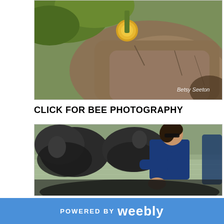[Figure (photo): Close-up nature/wildlife photo showing a bee or insect on rocks with green and yellow foliage. Watermark reads 'Betsy Seeton' in the lower right corner.]
CLICK FOR BEE PHOTOGRAPHY
[Figure (photo): Outdoor photo of a woman in a blue shirt and sunglasses bathing or interacting with elephants in a river. Other people visible in background also with elephants in the water.]
POWERED BY weebly